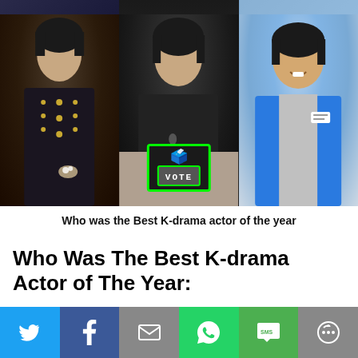[Figure (photo): Collage of three K-drama actors side by side. Left: actor in dark ornate jacket with gold buttons. Center: actor in dark blazer at a table with a VOTE ballot box graphic overlaid. Right: actor smiling in blue vest/uniform.]
Who was the Best K-drama actor of the year
Who Was The Best K-drama Actor of The Year:
Year 2020 is almost over Korean drama and